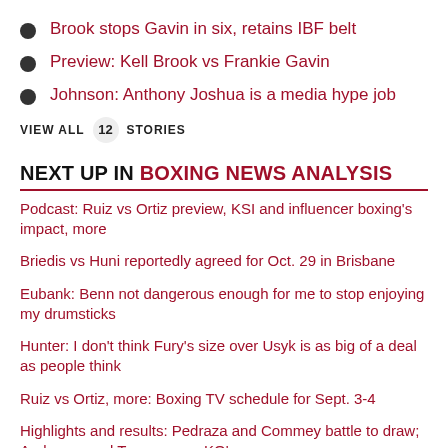Brook stops Gavin in six, retains IBF belt
Preview: Kell Brook vs Frankie Gavin
Johnson: Anthony Joshua is a media hype job
VIEW ALL 12 STORIES
NEXT UP IN BOXING NEWS ANALYSIS
Podcast: Ruiz vs Ortiz preview, KSI and influencer boxing's impact, more
Briedis vs Huni reportedly agreed for Oct. 29 in Brisbane
Eubank: Benn not dangerous enough for me to stop enjoying my drumsticks
Hunter: I don't think Fury's size over Usyk is as big of a deal as people think
Ruiz vs Ortiz, more: Boxing TV schedule for Sept. 3-4
Highlights and results: Pedraza and Commey battle to draw; Andersen and Torrez score KO's